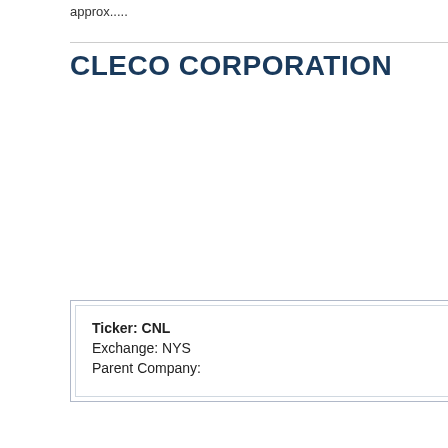approx.....
CLECO CORPORATION
| Ticker: CNL |
| Exchange: NYS |
| Parent Company: |